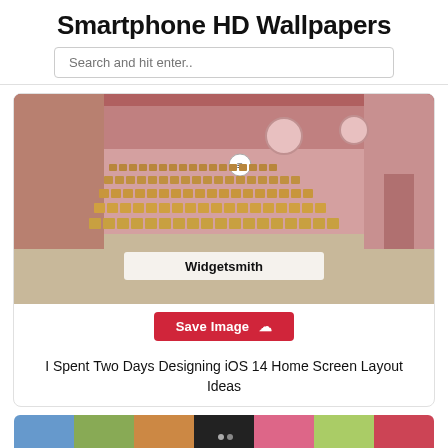Smartphone HD Wallpapers
Search and hit enter..
[Figure (photo): Photo of a lecture hall with rows of tan/beige chairs, pink walls, and circular windows. Overlay text reads 'Widgetsmith'.]
Save Image
I Spent Two Days Designing iOS 14 Home Screen Layout Ideas
[Figure (photo): Colorful strip of images at the bottom of the page, partially visible.]